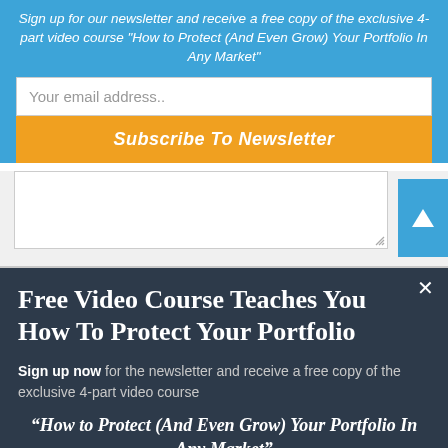Sign up for our newsletter and receive a free copy of the exclusive 4-part video course "How to Protect (And Even Grow) Your Portfolio In Any Market"
Your email address..
Subscribe To Newsletter
Free Video Course Teaches You How To Protect Your Portfolio
Sign up now for the newsletter and receive a free copy of the exclusive 4-part video course
“How to Protect (And Even Grow) Your Portfolio In Any Market”